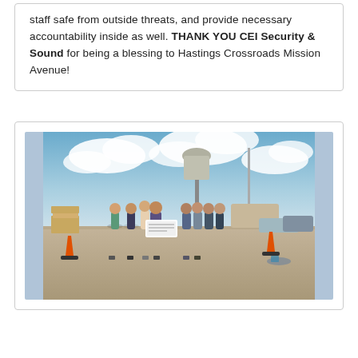staff safe from outside threats, and provide necessary accountability inside as well. THANK YOU CEI Security & Sound for being a blessing to Hastings Crossroads Mission Avenue!
[Figure (photo): Group of approximately 12 people standing outdoors in a gravel parking lot, holding a large ceremonial check. Orange traffic cones, stacked boxes, a water tower, and a flagpole are visible in the background under a partly cloudy sky.]